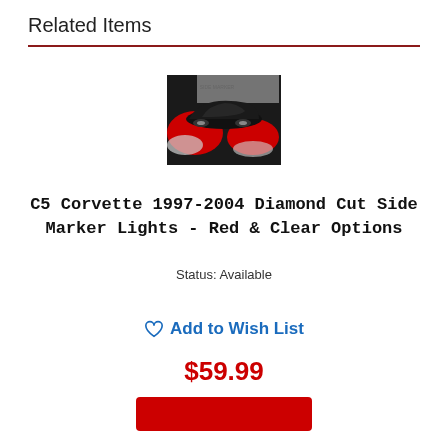Related Items
[Figure (photo): Product photo showing red and black Corvette side marker lights with a black sports car silhouette on a red and white background]
C5 Corvette 1997-2004 Diamond Cut Side Marker Lights - Red & Clear Options
Status: Available
♡ Add to Wish List
$59.99